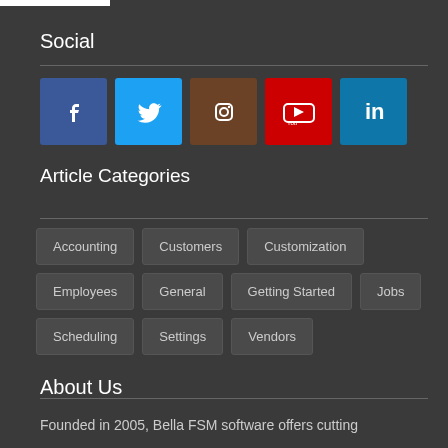Social
[Figure (illustration): Row of five social media icon buttons: Facebook (blue), Twitter (light blue), Instagram (brown), YouTube (red), LinkedIn (teal)]
Article Categories
Accounting
Customers
Customization
Employees
General
Getting Started
Jobs
Scheduling
Settings
Vendors
About Us
Founded in 2005, Bella FSM software offers cutting